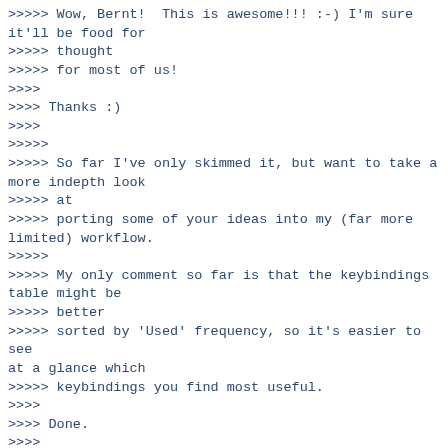>>>>> Wow, Bernt!  This is awesome!!! :-) I'm sure it'll be food for
>>>>> thought
>>>>> for most of us!
>>>>
>>>> Thanks :)
>>>>
>>>>>
>>>>> So far I've only skimmed it, but want to take a more indepth look
>>>>> at
>>>>> porting some of your ideas into my (far more limited) workflow.
>>>>>
>>>>> My only comment so far is that the keybindings table might be
>>>>> better
>>>>> sorted by 'Used' frequency, so it's easier to see at a glance which
>>>>> keybindings you find most useful.
>>>>
>>>> Done.
>>>>
>>>>> I finally managed to look at yasnippet myself yesterday, and
>>>>> found it
>>>>> to be an awesome edition for any emacs user... Naturally one of
>>>>> the
>>>>> first things that occured to me was combining it with...